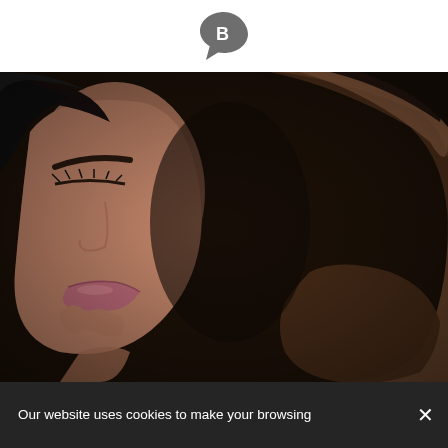[Figure (logo): Dark chat bubble / letter B logo mark]
[Figure (photo): Close-up romantic photo of a woman and man facing each other in dim dark lighting; the woman has dark hair and makeup, the man has a beard and is leaning toward her]
Our website uses cookies to make your browsing